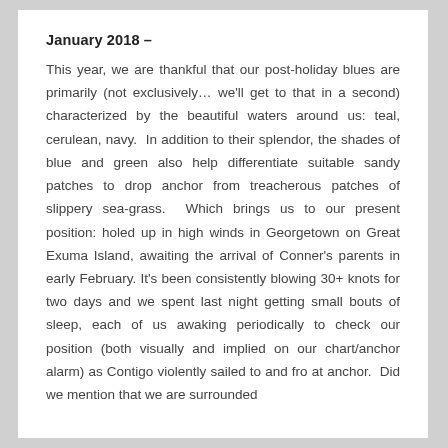January 2018 –
This year, we are thankful that our post-holiday blues are primarily (not exclusively… we'll get to that in a second) characterized by the beautiful waters around us: teal, cerulean, navy.  In addition to their splendor, the shades of blue and green also help differentiate suitable sandy patches to drop anchor from treacherous patches of slippery sea-grass.  Which brings us to our present position: holed up in high winds in Georgetown on Great Exuma Island, awaiting the arrival of Conner's parents in early February. It's been consistently blowing 30+ knots for two days and we spent last night getting small bouts of sleep, each of us awaking periodically to check our position (both visually and implied on our chart/anchor alarm) as Contigo violently sailed to and fro at anchor.  Did we mention that we are surrounded